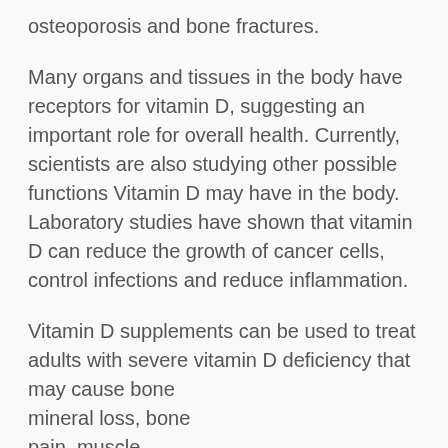osteoporosis and bone fractures.
Many organs and tissues in the body have receptors for vitamin D, suggesting an important role for overall health. Currently, scientists are also studying other possible functions Vitamin D may have in the body. Laboratory studies have shown that vitamin D can reduce the growth of cancer cells, control infections and reduce inflammation.
Vitamin D supplements can be used to treat adults with severe vitamin D deficiency that may cause bone mineral loss, bone pain, muscle weakness and soft